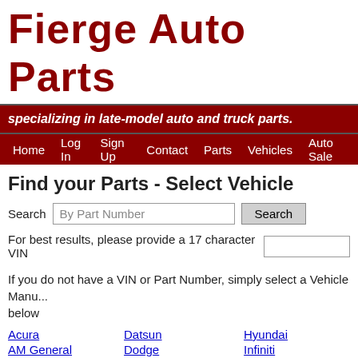Fierge Auto Parts
specializing in late-model auto and truck parts.
Home | Log In | Sign Up | Contact | Parts | Vehicles | Auto Sales
Find your Parts - Select Vehicle
Search [By Part Number] [Search]
For best results, please provide a 17 character VIN
If you do not have a VIN or Part Number, simply select a Vehicle Manufacturer below
Acura
Datsun
Hyundai
Mahindra
AM General
Dodge
Infiniti
Mahindra
AMC
Eagle
International
Mazda
American Motors
Ferrari
Isuzu
Mercedes
ARO
Fiat
IVECO
Mercedes
Audi
Ford
Jaguar
Mercury
Azure
Freightliner
Jeep
MG
Mini